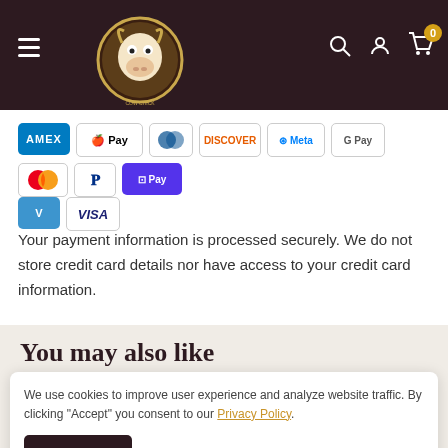[Figure (logo): Website header with dark brown background, hamburger menu icon on left, circular cow mascot logo in center-left, search icon, account icon, and cart icon (badge showing 0) on right]
[Figure (infographic): Payment method icons: Amex, Apple Pay, Diners Club, Discover, Meta, Google Pay, Mastercard, PayPal, ShopPay, Venmo, Visa]
Your payment information is processed securely. We do not store credit card details nor have access to your credit card information.
You may also like
We use cookies to improve user experience and analyze website traffic. By clicking "Accept" you consent to our Privacy Policy.